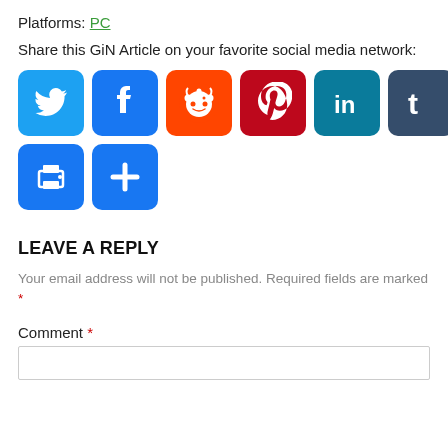Platforms: PC
Share this GiN Article on your favorite social media network:
[Figure (infographic): Row of social media share buttons: Twitter (blue bird), Facebook (blue f), Reddit (orange alien), Pinterest (dark red P), LinkedIn (teal in), Tumblr (dark blue t), Email (blue envelope), Print (blue printer), More (blue plus)]
LEAVE A REPLY
Your email address will not be published. Required fields are marked *
Comment *